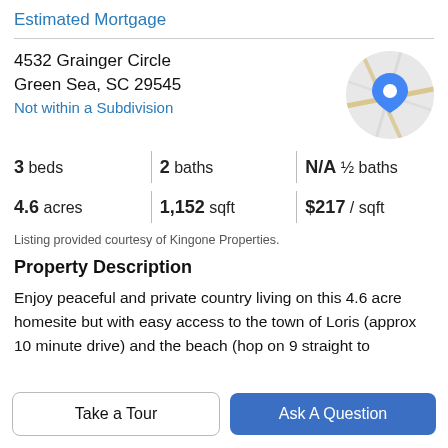Estimated Mortgage
4532 Grainger Circle
Green Sea, SC 29545
Not within a Subdivision
[Figure (map): Circular map thumbnail with a blue location pin marker on a road map background]
| 3 beds | 2 baths | N/A ½ baths |
| 4.6 acres | 1,152 sqft | $217 / sqft |
Listing provided courtesy of Kingone Properties.
Property Description
Enjoy peaceful and private country living on this 4.6 acre homesite but with easy access to the town of Loris (approx 10 minute drive) and the beach (hop on 9 straight to Cherry Grove). The approx…